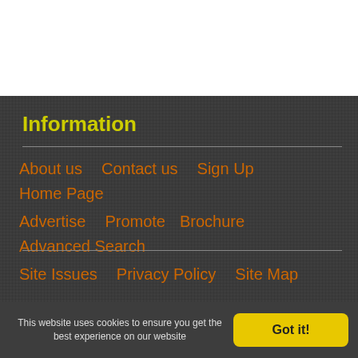Information
About us
Contact us
Sign Up
Home Page
Advertise
Promote
Brochure
Advanced Search
Site Issues
Privacy Policy
Site Map
This website uses cookies to ensure you get the best experience on our website